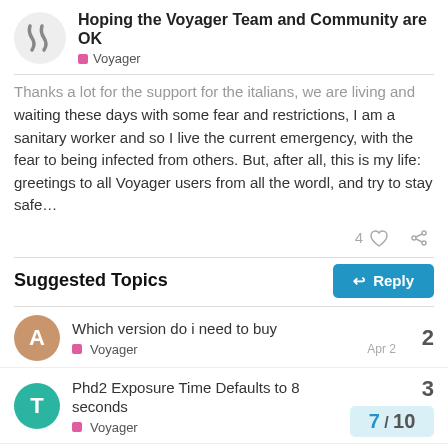Hoping the Voyager Team and Community are OK — Voyager
Thanks a lot for the support for the italians, we are living and waiting these days with some fear and restrictions, I am a sanitary worker and so I live the current emergency, with the fear to being infected from others. But, after all, this is my life: greetings to all Voyager users from all the wordl, and try to stay safe…
Suggested Topics
Which version do i need to buy — Voyager — Apr 2 — 2 replies
Phd2 Exposure Time Defaults to 8 seconds — Voyager — 3 replies — 7/10